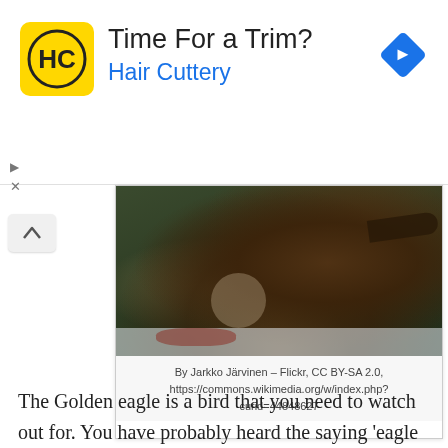[Figure (other): Hair Cuttery advertisement banner with yellow logo showing HC letters in circle, title 'Time For a Trim?', subtitle 'Hair Cuttery' in blue, and a blue diamond navigation icon on the right]
[Figure (photo): Photograph of a Golden eagle standing on prey in snow, with dark forest background. Photo credit: By Jarkko Järvinen - Flickr, CC BY-SA 2.0]
By Jarkko Järvinen – Flickr, CC BY-SA 2.0, https://commons.wikimedia.org/w/index.php?curid=44848627
The Golden eagle is a bird that you need to watch out for. You have probably heard the saying 'eagle eyes'. This is used to mean that a person is very